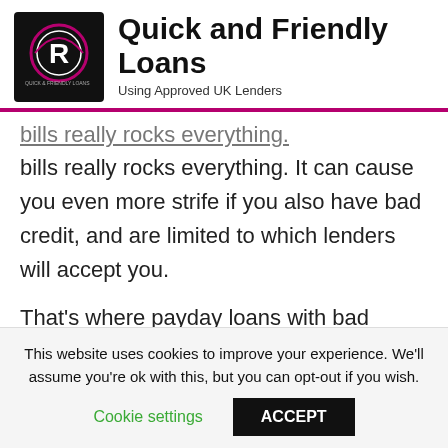[Figure (logo): Quick and Friendly Loans logo — circular emblem on black background]
Quick and Friendly Loans
Using Approved UK Lenders
bills really rocks everything. It can cause you even more strife if you also have bad credit, and are limited to which lenders will accept you.
That's where payday loans with bad credit come in handy. They are there for short-term borrowing for when those unexpected bills crop up and will even
This website uses cookies to improve your experience. We'll assume you're ok with this, but you can opt-out if you wish.